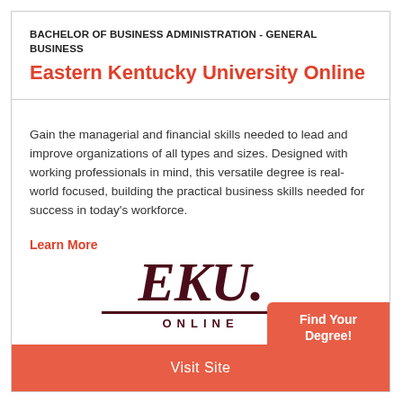BACHELOR OF BUSINESS ADMINISTRATION - GENERAL BUSINESS
Eastern Kentucky University Online
Gain the managerial and financial skills needed to lead and improve organizations of all types and sizes. Designed with working professionals in mind, this versatile degree is real-world focused, building the practical business skills needed for success in today's workforce.
Learn More
[Figure (logo): EKU Online logo — italic serif letters EKU with a line beneath and ONLINE text below]
Find Your Degree! Sponsored
Visit Site